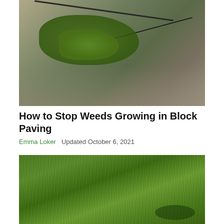[Figure (photo): Close-up photograph of weeds growing in the cracks between block paving stones, viewed from a low angle]
How to Stop Weeds Growing in Block Paving
Emma Loker   Updated October 6, 2021
[Figure (photo): Close-up photograph of dense green grass and weeds growing on a surface, viewed from above]